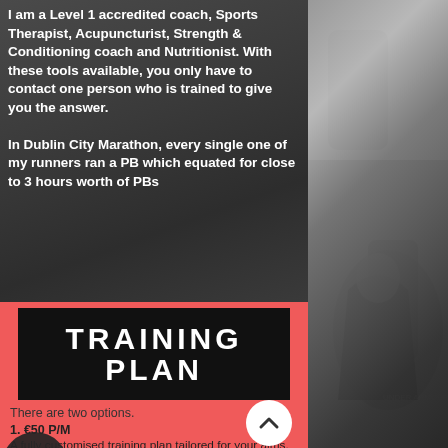I am a Level 1 accredited coach, Sports Therapist, Acupuncturist, Strength & Conditioning coach and Nutritionist. With these tools available, you only have to contact one person who is trained to give you the answer.

In Dublin City Marathon, every single one of my runners ran a PB which equated for close to 3 hours worth of PBs
TRAINING PLAN
There are two options.
1. €50 P/M
A fully customised training plan tailored for your aims, phone cosultation, race plan leading up to your goal race.
There is also unrestricted contact with me...